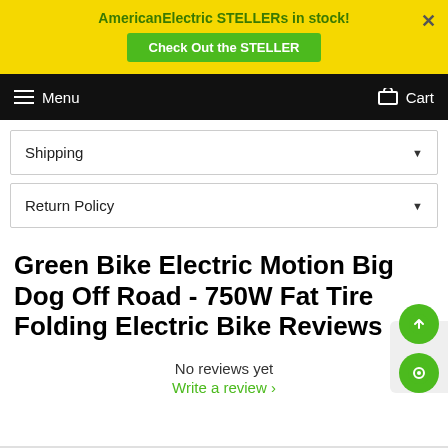AmericanElectric STELLERs in stock! Check Out the STELLER
Menu  Cart
Shipping ▼
Return Policy ▼
Green Bike Electric Motion Big Dog Off Road - 750W Fat Tire Folding Electric Bike Reviews
No reviews yet
Write a review ›